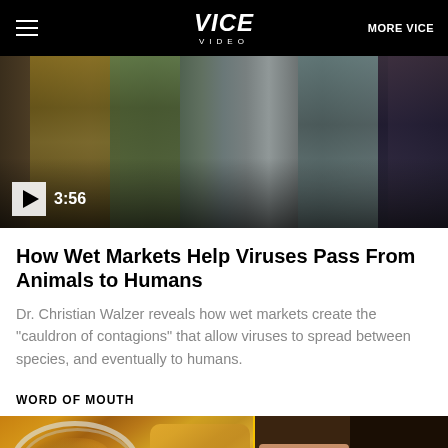VICE VIDEO | MORE VICE
[Figure (photo): Video thumbnail showing a busy wet market scene with people in the background. Play button and duration 3:56 visible in bottom left corner.]
How Wet Markets Help Viruses Pass From Animals to Humans
Dr. Christian Walzer reveals how wet markets create the "cauldron of contagions" that allow viruses to spread between species, and eventually to humans.
WORD OF MOUTH
[Figure (photo): Bottom banner image showing food dish on a plate on yellow background on the left, and two Asian women on a yellow background on the right.]